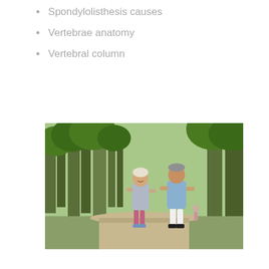Spondylolisthesis causes
Vertebrae anatomy
Vertebral column
[Figure (photo): Two middle-aged people (a woman in gray top and pink leggings, and a man in blue t-shirt and white shorts) jogging together on a tree-lined path in a park. Green trees visible in background.]